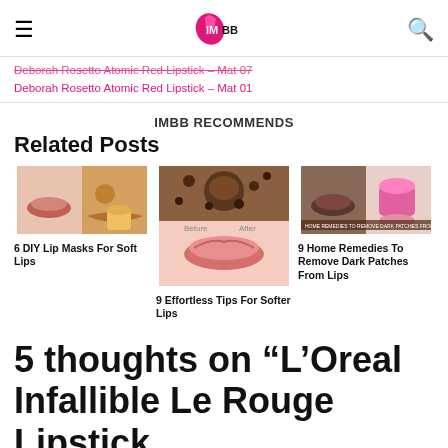IMBB (I Me My Beauty Blog) navigation header
Deborah Rosetto Atomic Red Lipstick – Mat 07
Deborah Rosetto Atomic Red Lipstick – Mat 01
IMBB RECOMMENDS
Related Posts
[Figure (photo): 6 DIY Lip Masks For Soft Lips – collage of lip care images]
6 DIY Lip Masks For Soft Lips
[Figure (photo): 9 Effortless Tips For Softer Lips – close up of lips with coffee scrub]
9 Effortless Tips For Softer Lips
[Figure (photo): 9 Home Remedies To Remove Dark Patches From Lips – before and after lip images]
9 Home Remedies To Remove Dark Patches From Lips
5 thoughts on “L’Oreal Infallible Le Rouge Lipstick